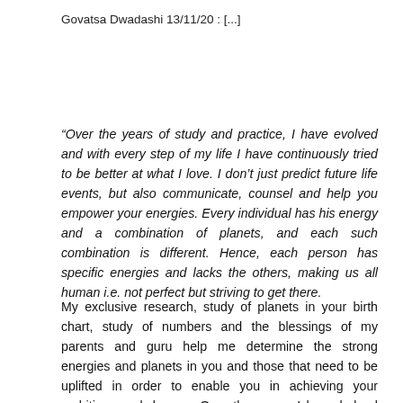Govatsa Dwadashi 13/11/20 : [...]
“Over the years of study and practice, I have evolved and with every step of my life I have continuously tried to be better at what I love. I don’t just predict future life events, but also communicate, counsel and help you empower your energies. Every individual has his energy and a combination of planets, and each such combination is different. Hence, each person has specific energies and lacks the others, making us all human i.e. not perfect but striving to get there.
My exclusive research, study of planets in your birth chart, study of numbers and the blessings of my parents and guru help me determine the strong energies and planets in you and those that need to be uplifted in order to enable you in achieving your ambitions and dreams. Over the years, I have helped many people by making these negative planet energies positive. It is just like